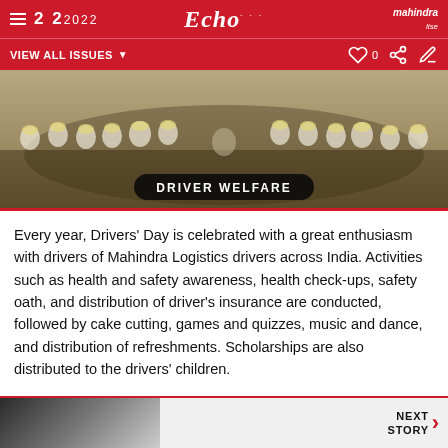22 2022 Echo Mahindra
VIEW ALL ISSUES
[Figure (photo): Group of Mahindra Logistics drivers seated in a circle at a Driver Welfare event, wearing white helmets and shirts]
DRIVER WELFARE
Every year, Drivers' Day is celebrated with a great enthusiasm with drivers of Mahindra Logistics drivers across India. Activities such as health and safety awareness, health check-ups, safety oath, and distribution of driver's insurance are conducted, followed by cake cutting, games and quizzes, music and dance, and distribution of refreshments. Scholarships are also distributed to the drivers' children.
NEXT STORY